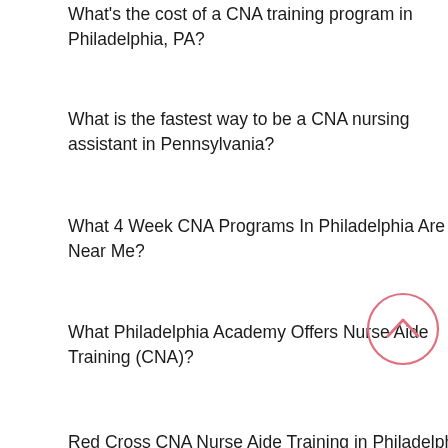What's the cost of a CNA training program in Philadelphia, PA?
What is the fastest way to be a CNA nursing assistant in Pennsylvania?
What 4 Week CNA Programs In Philadelphia Are Near Me?
What Philadelphia Academy Offers Nurse Aide Training (CNA)?
Red Cross CNA Nurse Aide Training in Philadelphia, PA
How long does it take to become a CNA in Philadelphia, PA?
Free CNA Training in Pennsylvania: The Step By Step Guide